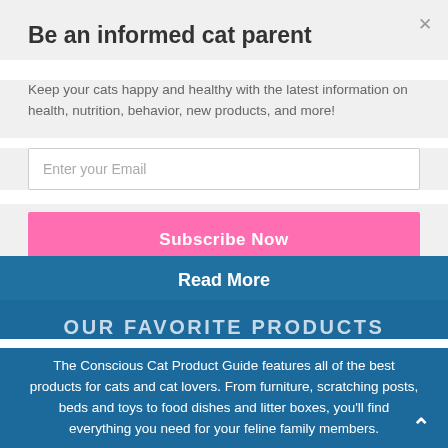Be an informed cat parent
Keep your cats happy and healthy with the latest information on health, nutrition, behavior, new products, and more!
Enter your Email
Subscribe Now
Read More
OUR FAVORITE PRODUCTS
The Conscious Cat Product Guide features all of the best products for cats and cat lovers. From furniture, scratching posts, beds and toys to food dishes and litter boxes, you'll find everything you need for your feline family members.